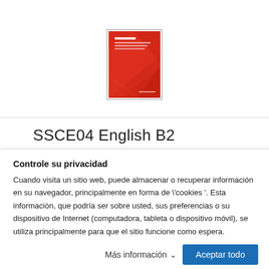[Figure (illustration): Red book cover with geometric polygon pattern, white text. Shown inside a thin rectangular border.]
SSCE04 English B2
Controle su privacidad
Cuando visita un sitio web, puede almacenar o recuperar información en su navegador, principalmente en forma de \'cookies '. Esta información, que podría ser sobre usted, sus preferencias o su dispositivo de Internet (computadora, tableta o dispositivo móvil), se utiliza principalmente para que el sitio funcione como espera.
Más información
Aceptar todo